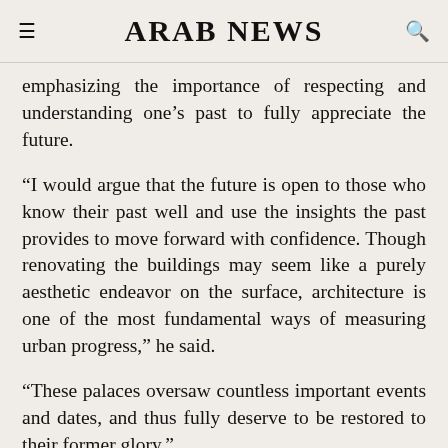ARAB NEWS
emphasizing the importance of respecting and understanding one’s past to fully appreciate the future.
“I would argue that the future is open to those who know their past well and use the insights the past provides to move forward with confidence. Though renovating the buildings may seem like a purely aesthetic endeavor on the surface, architecture is one of the most fundamental ways of measuring urban progress,” he said.
“These palaces oversaw countless important events and dates, and thus fully deserve to be restored to their former glory."